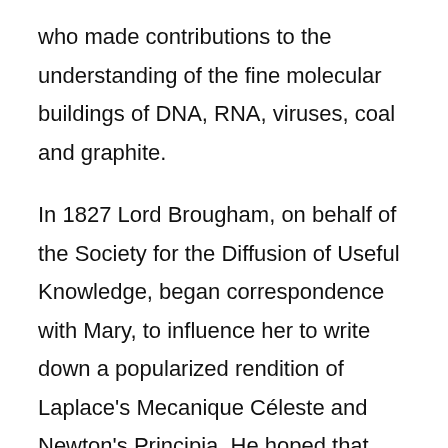who made contributions to the understanding of the fine molecular buildings of DNA, RNA, viruses, coal and graphite.
In 1827 Lord Brougham, on behalf of the Society for the Diffusion of Useful Knowledge, began correspondence with Mary, to influence her to write down a popularized rendition of Laplace's Mecanique Céleste and Newton's Principia. He hoped that she could reach a larger audience by communicating the concepts clearly via easy illustrations and experiments that most individuals may understand.
History Of Women In The United